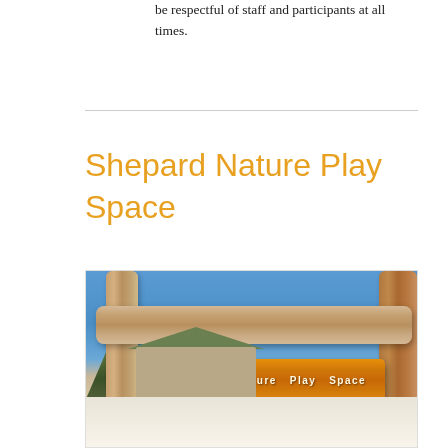be respectful of staff and participants at all times.
Shepard Nature Play Space
[Figure (photo): Photograph of a wooden entrance sign reading 'Shepard Nature Play Space' hanging from a rustic log frame, with a blue sky, snow-covered ground, trees, and a building visible in the background.]